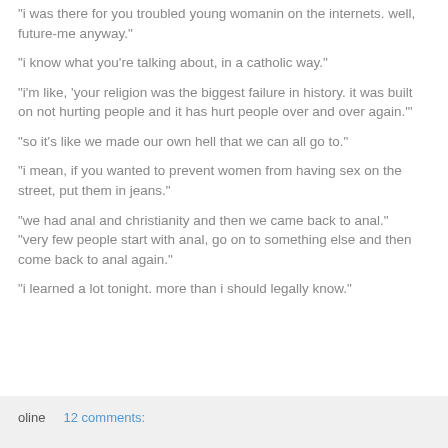"i was there for you troubled young womanin on the internets. well, future-me anyway."
"i know what you're talking about, in a catholic way."
"i'm like, 'your religion was the biggest failure in history. it was built on not hurting people and it has hurt people over and over again.'"
"so it's like we made our own hell that we can all go to."
"i mean, if you wanted to prevent women from having sex on the street, put them in jeans."
"we had anal and christianity and then we came back to anal."
"very few people start with anal, go on to something else and then come back to anal again."
"i learned a lot tonight. more than i should legally know."
oline    12 comments: